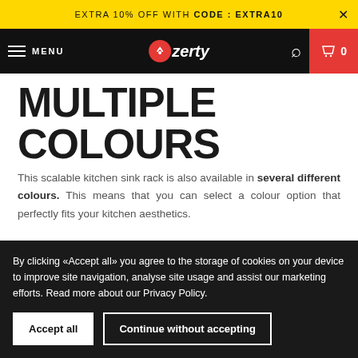EXTRA 10% OFF WITH CODE : EXTRA10
MENU | ozerty | 0
MULTIPLE COLOURS
This scalable kitchen sink rack is also available in several different colours. This means that you can select a colour option that perfectly fits your kitchen aesthetics.
By clicking «Accept all» you agree to the storage of cookies on your device to improve site navigation, analyse site usage and assist our marketing efforts. Read more about our Privacy Policy.
Accept all | Continue without accepting